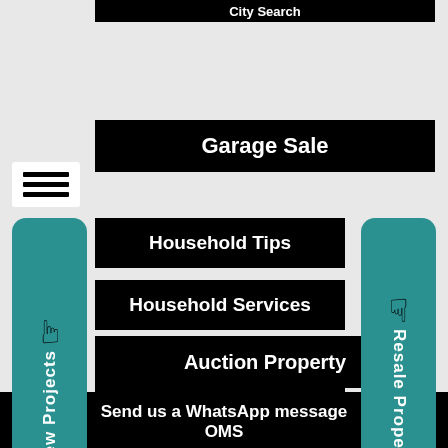City Search
Garage Sale
New Projects
Resale Properties
Household Tips
Household Services
Household Items
Auction Property
Send us a WhatsApp message OMS